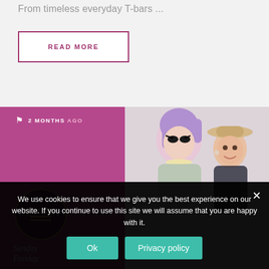From timeless everyday T-bars ...
READ MORE
[Figure (photo): Article card with pink/magenta background on left side showing a circle logo and 'Sunday Funday' text, and a photo on the right of two people including a drag performer with purple hair and colorful outfit, and a woman in a cream hat]
2 MONTHS AGO
We use cookies to ensure that we give you the best experience on our website. If you continue to use this site we will assume that you are happy with it.
Ok
Privacy policy